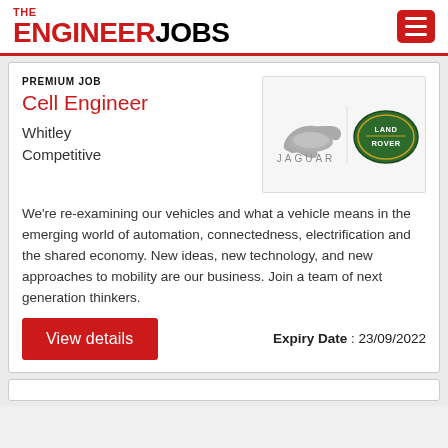THE ENGINEER JOBS
PREMIUM JOB
Cell Engineer
Whitley
Competitive
[Figure (logo): Jaguar and Land Rover logos side by side on a light grey background]
We're re-examining our vehicles and what a vehicle means in the emerging world of automation, connectedness, electrification and the shared economy. New ideas, new technology, and new approaches to mobility are our business. Join a team of next generation thinkers.
Expiry Date : 23/09/2022
View details